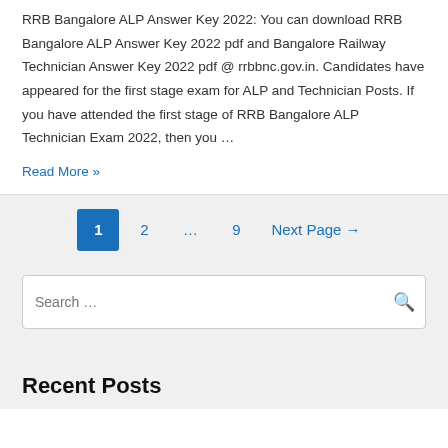RRB Bangalore ALP Answer Key 2022: You can download RRB Bangalore ALP Answer Key 2022 pdf and Bangalore Railway Technician Answer Key 2022 pdf @ rrbbnc.gov.in. Candidates have appeared for the first stage exam for ALP and Technician Posts. If you have attended the first stage of RRB Bangalore ALP Technician Exam 2022, then you …
Read More »
1  2  …  9  Next Page →
Search …
Recent Posts